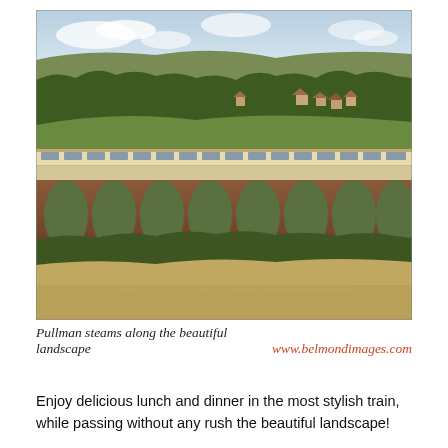[Figure (photo): A Pullman train crossing a brick viaduct with multiple arches, set against a rolling English countryside landscape with fields, trees, and a village in the background under a cloudy sky.]
Pullman steams along the beautiful landscape   www.belmondimages.com
Enjoy delicious lunch and dinner in the most stylish train, while passing without any rush the beautiful landscape!